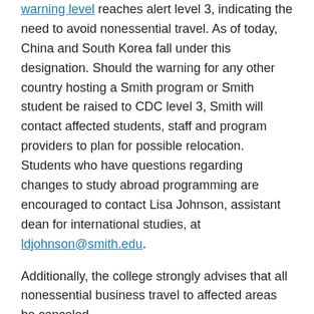warning level reaches alert level 3, indicating the need to avoid nonessential travel. As of today, China and South Korea fall under this designation. Should the warning for any other country hosting a Smith program or Smith student be raised to CDC level 3, Smith will contact affected students, staff and program providers to plan for possible relocation. Students who have questions regarding changes to study abroad programming are encouraged to contact Lisa Johnson, assistant dean for international studies, at ldjohnson@smith.edu.
Additionally, the college strongly advises that all nonessential business travel to affected areas be canceled.
Spring recess
The college urges every member of the community traveling over spring recess to take appropriate cautions and monitor CDC updates and guidance. Additionally, we recognize that some students will not wish to—or may not be able to—travel over spring break to destinations currently affected by COVID-19. In response to these circumstances, the college is waiving all housing fees for this year's